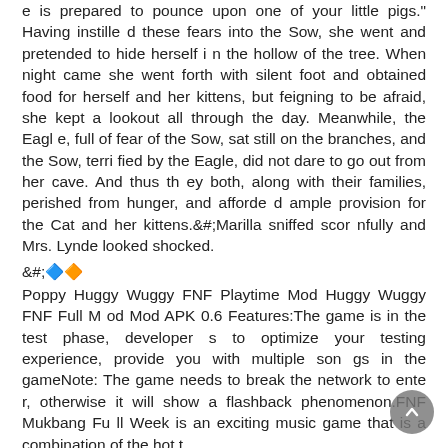e is prepared to pounce upon one of your little pigs." Having instilled these fears into the Sow, she went and pretended to hide herself in the hollow of the tree. When night came she went forth with silent foot and obtained food for herself and her kittens, but feigning to be afraid, she kept a lookout all through the day. Meanwhile, the Eagle, full of fear of the Sow, sat still on the branches, and the Sow, terrified by the Eagle, did not dare to go out from her cave. And thus they both, along with their families, perished from hunger, and afforded ample provision for the Cat and her kittens.&#;Marilla sniffed scornfully and Mrs. Lynde looked shocked.
&#;🔷🔶
Poppy Huggy Wuggy FNF Playtime Mod Huggy Wuggy FNF Full Mod Mod APK 0.6 Features:The game is in the test phase, developers to optimize your testing experience, provide you with multiple songs in the gameNote: The game needs to break the network to enter, otherwise it will show a flashback phenomenon.FNF Mukbang Full Week is an exciting music game that is a combination of the hot t